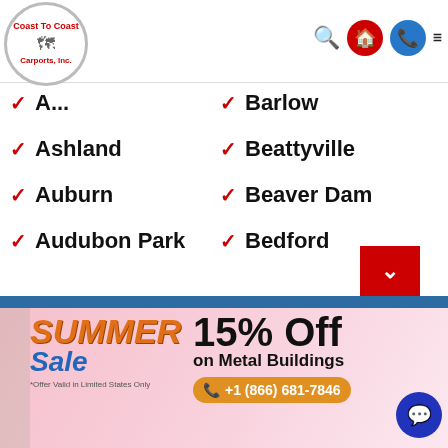[Figure (logo): Coast To Coast Carports, Inc. logo — circular with text and US map silhouette]
A... (partially hidden)
Barlow
Ashland
Beattyville
Auburn
Beaver Dam
Audubon Park
Bedford
[Figure (infographic): Summer Sale banner: 15% Off on Metal Buildings, phone +1 (866) 681-7846, *Offer Valid in Limited States Only]